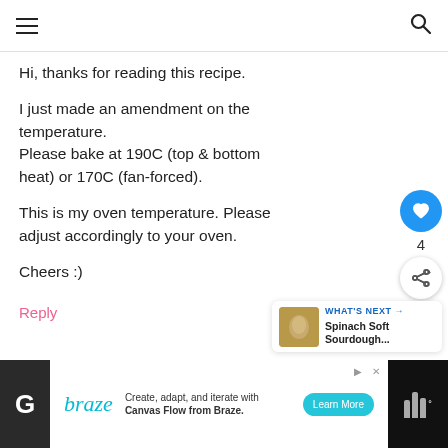Navigation header with hamburger menu and search icon
Hi, thanks for reading this recipe.

I just made an amendment on the temperature.
Please bake at 190C (top & bottom heat) or 170C (fan-forced).

This is my oven temperature. Please adjust accordingly to your oven.

Cheers :)
Reply
[Figure (infographic): Social interaction buttons: heart/like button (blue circle with heart icon, count: 4) and share button (white circle with share icon). Also a 'What's Next' card showing 'Spinach Soft Sourdough...' with thumbnail.]
[Figure (infographic): Advertisement banner at bottom: Braze logo with text 'Create, adapt, and iterate with Canvas Flow from Braze.' and a 'Learn More' button. Dark sidebar icons on left and right.]